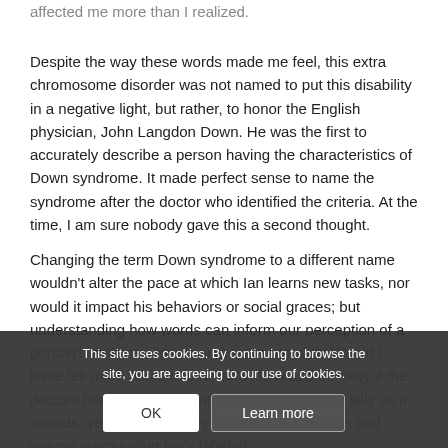affected me more than I realized.
Despite the way these words made me feel, this extra chromosome disorder was not named to put this disability in a negative light, but rather, to honor the English physician, John Langdon Down. He was the first to accurately describe a person having the characteristics of Down syndrome. It made perfect sense to name the syndrome after the doctor who identified the criteria. At the time, I am sure nobody gave this a second thought.
Changing the term Down syndrome to a different name wouldn't alter the pace at which Ian learns new tasks, nor would it impact his behaviors or social graces; but understanding how words can inform our perception of a person's abilities allows perspectives to shift. Would I have felt more assured that Ian's life would be okay if the doctors had said a differently worded name? As silly as it sounds, yes – because names carry weight. The vibration and energy surrounding Ian's labeled
This site uses cookies. By continuing to browse the site, you are agreeing to our use of cookies.